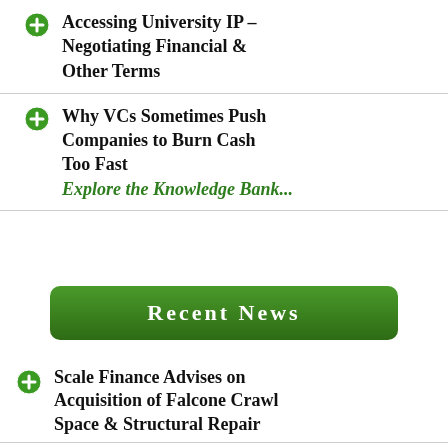Accessing University IP – Negotiating Financial & Other Terms
Why VCs Sometimes Push Companies to Burn Cash Too Fast
Explore the Knowledge Bank...
Recent News
Scale Finance Advises on Acquisition of Falcone Crawl Space & Structural Repair
Congrats to Payzer for Closing $__ Million Equity...